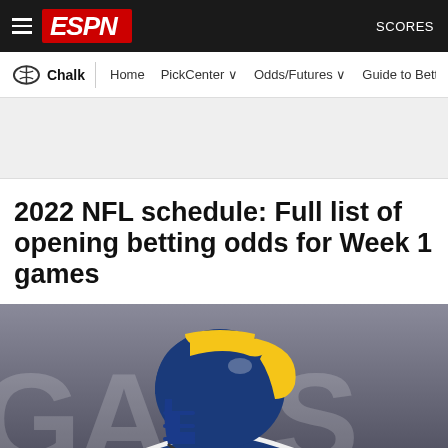ESPN — SCORES
Chalk | Home | PickCenter | Odds/Futures | Guide to Betting
[Figure (other): Gray advertisement banner area]
2022 NFL schedule: Full list of opening betting odds for Week 1 games
[Figure (photo): Los Angeles Rams quarterback in blue and yellow helmet, mid-throw, with blurred stadium background text reading 'GAL S']